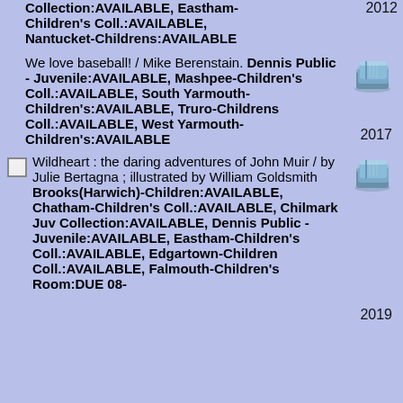Collection:AVAILABLE, Eastham-Children's Coll.:AVAILABLE, Nantucket-Childrens:AVAILABLE
We love baseball! / Mike Berenstain. Dennis Public - Juvenile:AVAILABLE, Mashpee-Children's Coll.:AVAILABLE, South Yarmouth-Children's:AVAILABLE, Truro-Childrens Coll.:AVAILABLE, West Yarmouth-Children's:AVAILABLE
Wildheart : the daring adventures of John Muir / by Julie Bertagna ; illustrated by William Goldsmith Brooks(Harwich)-Children:AVAILABLE, Chatham-Children's Coll.:AVAILABLE, Chilmark Juv Collection:AVAILABLE, Dennis Public - Juvenile:AVAILABLE, Eastham-Children's Coll.:AVAILABLE, Edgartown-Children Coll.:AVAILABLE, Falmouth-Children's Room:DUE 08-